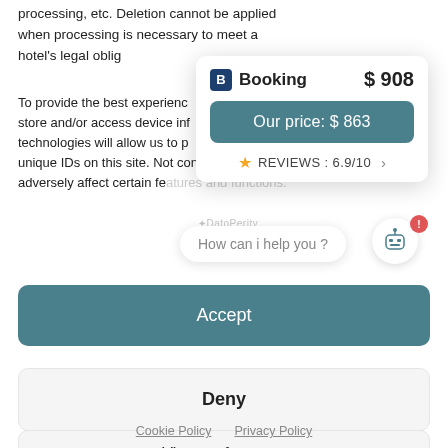processing, etc. Deletion cannot be applied when processing is necessary to meet a hotel's legal oblig...
Manage...
To provide the best experience... store and/or access device inf... technologies will allow us to p... unique IDs on this site. Not consenting or withdrawing consent, may adversely affect certain features and functions.
[Figure (screenshot): Booking.com price comparison popup card showing Booking price $908, Our price $863, and Reviews 6.9/10]
[Figure (other): Chatbot widget with speech bubble saying 'How can i help you?']
Accept
Deny
View preferences
Cookie Policy   Privacy Policy